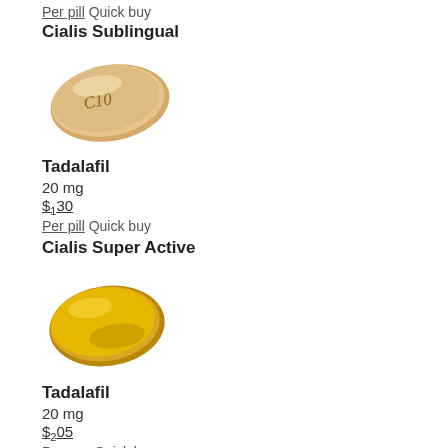Per pill Quick buy
Cialis Sublingual
[Figure (photo): Beige/tan oval pill with C10 imprint]
Tadalafil
20 mg
$1.30
Per pill Quick buy
Cialis Super Active
[Figure (photo): Golden/amber soft gel capsule pill]
Tadalafil
20 mg
$2.05
Per cap Quick buy
Extra Super Cialis
[Figure (photo): Blister pack pill partially visible at bottom]